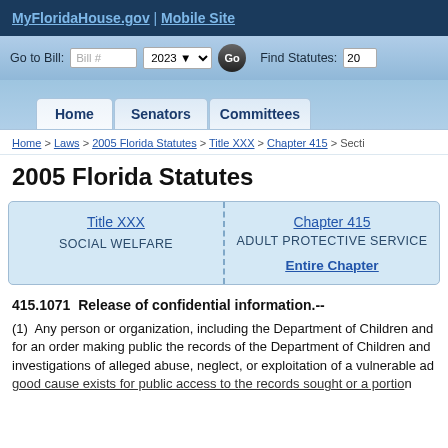MyFloridaHouse.gov | Mobile Site
Go to Bill: Bill # | 2023 | Go | Find Statutes: 20
Home | Senators | Committees
Home > Laws > 2005 Florida Statutes > Title XXX > Chapter 415 > Secti
2005 Florida Statutes
| Title XXX | Chapter 415 |
| --- | --- |
| SOCIAL WELFARE | ADULT PROTECTIVE SERVICE |
|  | Entire Chapter |
415.1071  Release of confidential information.--
(1)  Any person or organization, including the Department of Children and for an order making public the records of the Department of Children and investigations of alleged abuse, neglect, or exploitation of a vulnerable a good cause exists for public access to the records sought or a portion